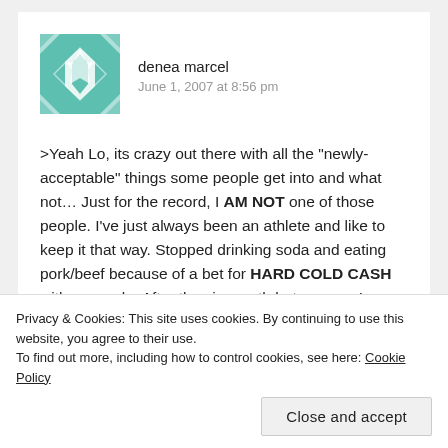[Figure (illustration): Teal/green geometric quilt-pattern avatar icon for user denea marcel]
denea marcel
June 1, 2007 at 8:56 pm
>Yeah Lo, its crazy out there with all the "newly-acceptable" things some people get into and what not... Just for the record, I AM NOT one of those people. I've just always been an athlete and like to keep it that way. Stopped drinking soda and eating pork/beef because of a bet for HARD COLD CASH with my uncle. After the six month bet was up, I couldn't get near them without getting sick. So I adapted. Everything else is just because I have to keep an eye on family health issues, like diabetes, and high blood pressure.So, Sheletha, you don't
Privacy & Cookies: This site uses cookies. By continuing to use this website, you agree to their use.
To find out more, including how to control cookies, see here: Cookie Policy
Close and accept